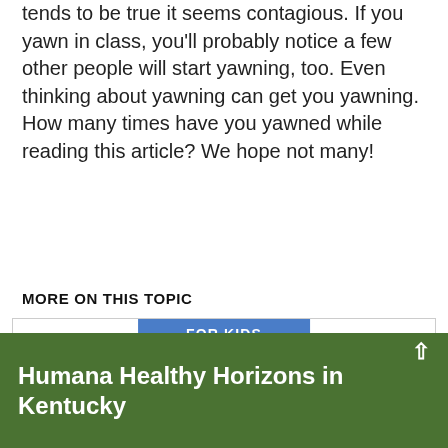tends to be true it seems contagious. If you yawn in class, you'll probably notice a few other people will start yawning, too. Even thinking about yawning can get you yawning. How many times have you yawned while reading this article? We hope not many!
MORE ON THIS TOPIC
Why Do I Need to Sleep?
What Makes Me Sneeze?
Why Do Eyes Water?
Why Do Feet Stink?
Humana Healthy Horizons in Kentucky